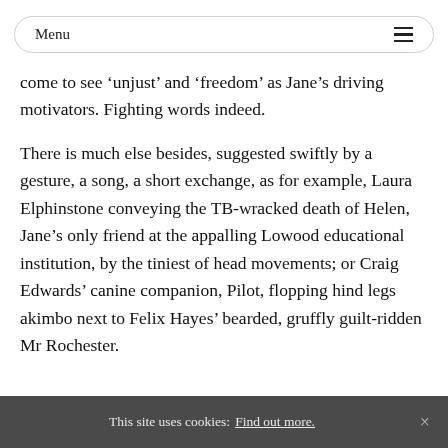Menu
come to see ‘unjust’ and ‘freedom’ as Jane’s driving motivators. Fighting words indeed.
There is much else besides, suggested swiftly by a gesture, a song, a short exchange, as for example, Laura Elphinstone conveying the TB-wracked death of Helen, Jane’s only friend at the appalling Lowood educational institution, by the tiniest of head movements; or Craig Edwards’ canine companion, Pilot, flopping hind legs akimbo next to Felix Hayes’ bearded, gruffly guilt-ridden Mr Rochester.
This site uses cookies: Find out more.